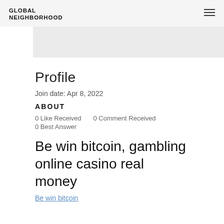GLOBAL NEIGHBORHOOD
Profile
Join date: Apr 8, 2022
ABOUT
0 Like Received   0 Comment Received
0 Best Answer
Be win bitcoin, gambling online casino real money
Be win bitcoin